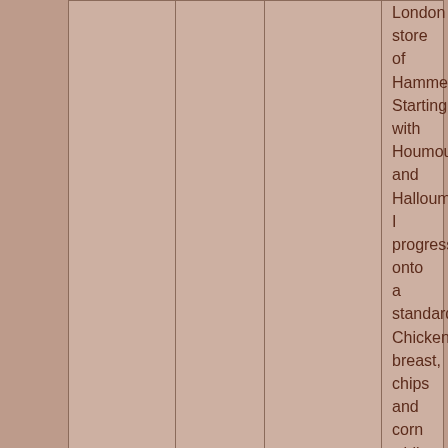| Month | Year | Place | Description |
| --- | --- | --- | --- |
| June | 2013 | Wrexham | London store of Hammersmith. Starting with Houmous and Halloumi, I progressed onto a standard Chicken breast, chips and corn whilst Lola was adventurous with the new avocado salad and half chicken. The surroundings enabled us to enjoy Nando's bounty of foods. Big Thanks to RYN for this delicious night out :-) |
|  |  |  | Definitely happy to win again, made all the better by beating Adam. I decided to have my meal at my |